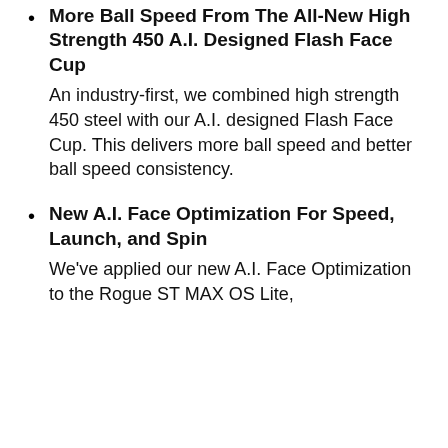More Ball Speed From The All-New High Strength 450 A.I. Designed Flash Face Cup
An industry-first, we combined high strength 450 steel with our A.I. designed Flash Face Cup. This delivers more ball speed and better ball speed consistency.
New A.I. Face Optimization For Speed, Launch, and Spin
We've applied our new A.I. Face Optimization to the Rogue ST MAX OS Lite,